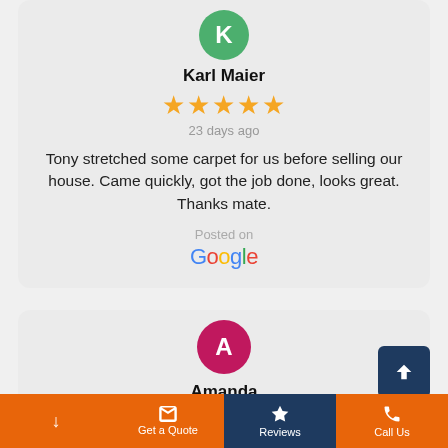[Figure (illustration): Green circle avatar with letter K for reviewer Karl Maier]
Karl Maier
[Figure (other): 5 gold stars rating]
23 days ago
Tony stretched some carpet for us before selling our house. Came quickly, got the job done, looks great. Thanks mate.
Posted on
[Figure (logo): Google logo in multicolor text]
[Figure (illustration): Pink/magenta circle avatar with letter A for reviewer Amanda]
Amanda
[Figure (other): 5 gold stars rating (partially visible)]
Get a Quote | Reviews | Call Us